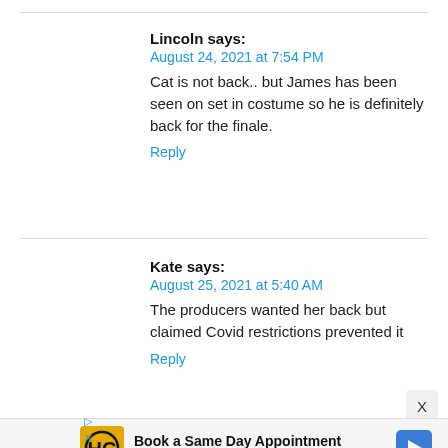Lincoln says:
August 24, 2021 at 7:54 PM
Cat is not back.. but James has been seen on set in costume so he is definitely back for the finale.
Reply
Kate says:
August 25, 2021 at 5:40 AM
The producers wanted her back but claimed Covid restrictions prevented it
Reply
[Figure (other): Advertisement: Book a Same Day Appointment - Hair Cuttery, with HC logo and navigation arrow icon]